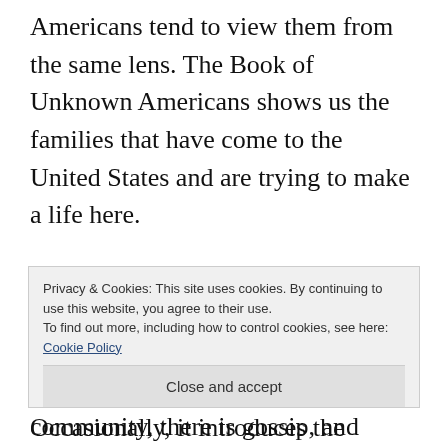Americans tend to view them from the same lens. The Book of Unknown Americans shows us the families that have come to the United States and are trying to make a life here.
The book centers around two families, and switches perspective between the mothers and the son in one family for most of the narrative. Occasionally, it introduces the perspective of a
Privacy & Cookies: This site uses cookies. By continuing to use this website, you agree to their use. To find out more, including how to control cookies, see here: Cookie Policy
Close and accept
community, there is gossip, and hardly any a...